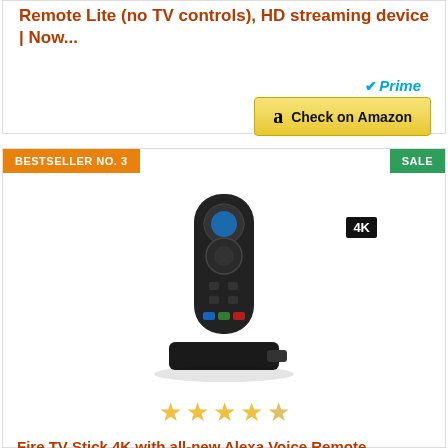Remote Lite (no TV controls), HD streaming device | Now...
[Figure (logo): Amazon Prime logo with blue checkmark and italic Prime text]
[Figure (other): Check on Amazon button with Amazon logo]
BESTSELLER NO. 3
SALE
[Figure (photo): Fire TV Stick 4K with Alexa Voice Remote product image with 4K badge]
[Figure (other): 4.5 out of 5 stars rating shown as star icons]
Fire TV Stick 4K with all-new Alexa Voice Remote (includes TV and app controls), Dolby Vision